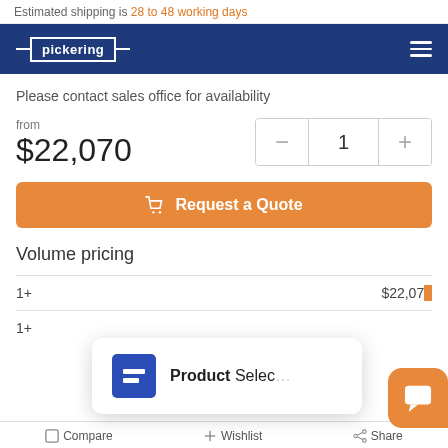Estimated shipping is 28 to 48 working days
Pickering (navigation bar)
Please contact sales office for availability
from $22,070
Request a Quote
Volume pricing
1+  $22,07...
1+  (Product Selector popup)
[Figure (screenshot): Product Selector popup overlay with blue logo icon and chat bubble widget]
Compare   Wishlist   Share